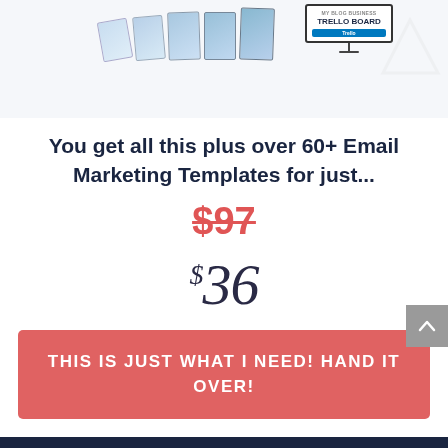[Figure (illustration): Product mockup images including email templates and a Trello board on a monitor, displayed at the top of the page]
You get all this plus over 60+ Email Marketing Templates for just...
$97 (strikethrough original price)
$36 (sale price in cursive/script style)
THIS IS JUST WHAT I NEED! HAND IT OVER!